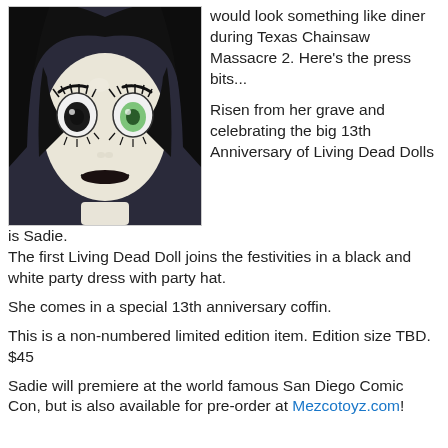[Figure (photo): Close-up photo of a Living Dead Doll named Sadie — a pale-faced gothic doll with large mismatched eyes (one dark, one green), dramatic eyelashes, arched black eyebrows, and black lips, with long black hair against a dark background.]
would look something like diner during Texas Chainsaw Massacre 2. Here's the press bits...
Risen from her grave and celebrating the big 13th Anniversary of Living Dead Dolls is Sadie.
The first Living Dead Doll joins the festivities in a black and white party dress with party hat.
She comes in a special 13th anniversary coffin.
This is a non-numbered limited edition item. Edition size TBD. $45
Sadie will premiere at the world famous San Diego Comic Con, but is also available for pre-order at Mezcotoyz.com!